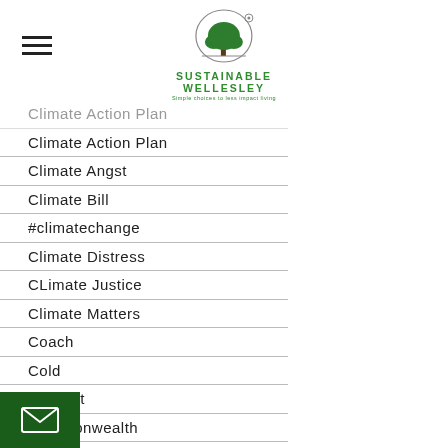[Figure (logo): Sustainable Wellesley logo with tree icon and tagline]
Climate Action Plan (faded/partial)
Climate Action Plan
Climate Angst
Climate Bill
#climatechange
Climate Distress
CLimate Justice
Climate Matters
Coach
Cold
Comfort
Commonwealth
Compost
Conservation
Conserve